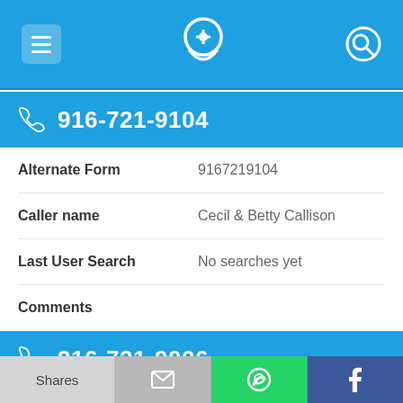[Figure (screenshot): Mobile app top navigation bar with hamburger menu icon, phone/location pin icon, and search icon on blue background]
916-721-9104
| Alternate Form | 9167219104 |
| Caller name | Cecil & Betty Callison |
| Last User Search | No searches yet |
| Comments |  |
916-721-9006
[Figure (screenshot): Bottom share bar with Shares label, email icon, WhatsApp icon, and Facebook icon]